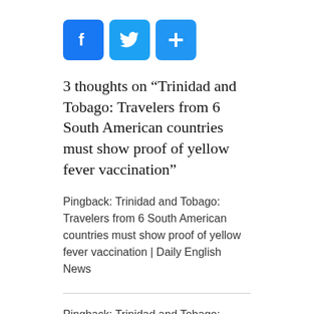[Figure (other): Three social sharing buttons: Facebook (blue, F icon), Twitter (blue, bird icon), and a share/add button (blue, plus icon)]
3 thoughts on “Trinidad and Tobago: Travelers from 6 South American countries must show proof of yellow fever vaccination”
Pingback: Trinidad and Tobago: Travelers from 6 South American countries must show proof of yellow fever vaccination | Daily English News
Pingback: Trinidad and Tobago: Travelers from 6 South American countries must show proof of yellow fever vaccination | Daily